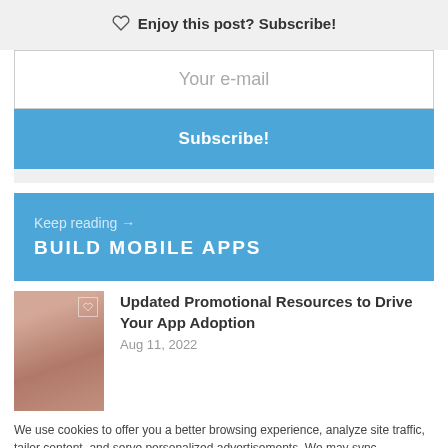♡  Enjoy this post? Subscribe!
Your e-mail
Subscribe!
Keep reading →
BUILD MOBILE APPS
Updated Promotional Resources to Drive Your App Adoption
Aug 11, 2022
We use cookies to offer you a better browsing experience, analyze site traffic, tailor content, and serve personalized advertisements. We may sync